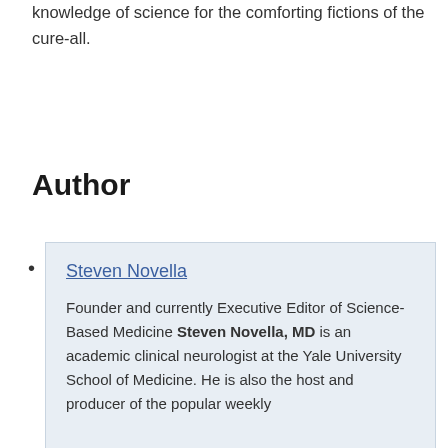knowledge of science for the comforting fictions of the cure-all.
Author
Steven Novella
Founder and currently Executive Editor of Science-Based Medicine Steven Novella, MD is an academic clinical neurologist at the Yale University School of Medicine. He is also the host and producer of the popular weekly